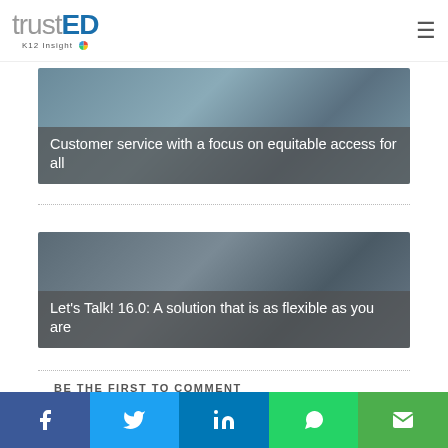trustED K12 Insight
[Figure (photo): Banner image with text overlay: Customer service with a focus on equitable access for all]
[Figure (photo): Banner image with text overlay: Let's Talk! 16.0: A solution that is as flexible as you are]
BE THE FIRST TO COMMENT
Social share bar: Facebook, Twitter, LinkedIn, WhatsApp, Email